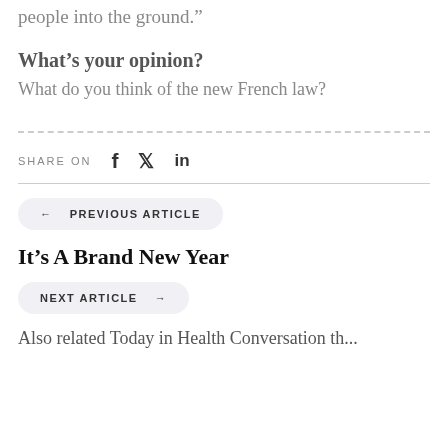people into the ground.”
What’s your opinion?
What do you think of the new French law?
SHARE ON
← PREVIOUS ARTICLE
It’s A Brand New Year
NEXT ARTICLE →
Also related Today in Health Conversation th...